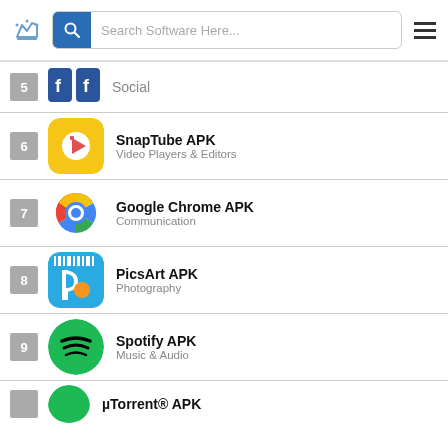Search Software Here...
Social
SnapTube APK — Video Players & Editors — rank 6
Google Chrome APK — Communication — rank 7
PicsArt APK — Photography — rank 8
Spotify APK — Music & Audio — rank 9
µTorrent® APK — rank (partial)